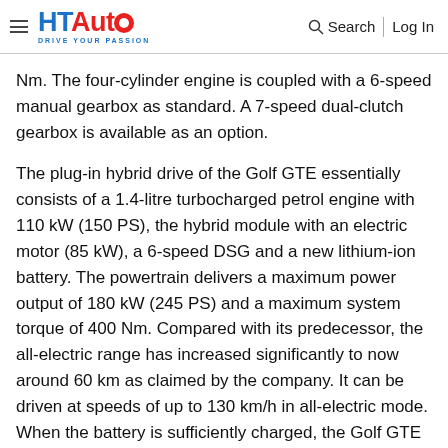HT Auto — Drive Your Passion | Search | Log In
Nm. The four-cylinder engine is coupled with a 6-speed manual gearbox as standard. A 7-speed dual-clutch gearbox is available as an option.
The plug-in hybrid drive of the Golf GTE essentially consists of a 1.4-litre turbocharged petrol engine with 110 kW (150 PS), the hybrid module with an electric motor (85 kW), a 6-speed DSG and a new lithium-ion battery. The powertrain delivers a maximum power output of 180 kW (245 PS) and a maximum system torque of 400 Nm. Compared with its predecessor, the all-electric range has increased significantly to now around 60 km as claimed by the company. It can be driven at speeds of up to 130 km/h in all-electric mode. When the battery is sufficiently charged, the Golf GTE always starts in all-electric E-MODE. The drive switches to